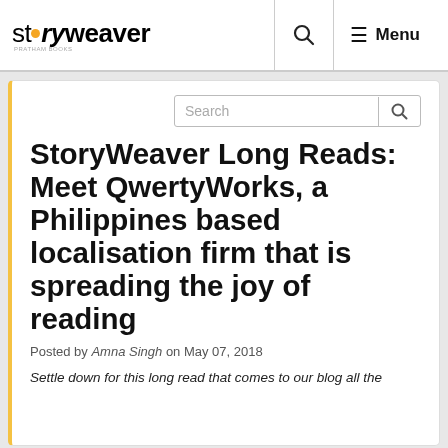storyweaver — Search — Menu
StoryWeaver Long Reads: Meet QwertyWorks, a Philippines based localisation firm that is spreading the joy of reading
Posted by Amna Singh on May 07, 2018
Settle down for this long read that comes to our blog all the